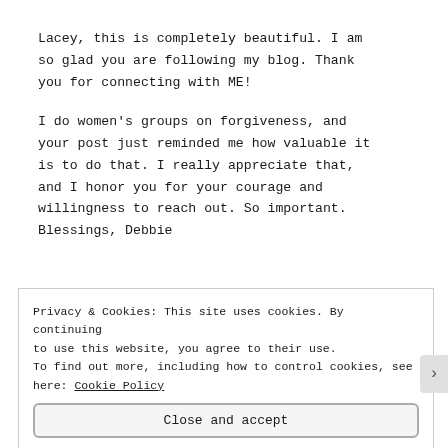Lacey, this is completely beautiful. I am so glad you are following my blog. Thank you for connecting with ME!
I do women's groups on forgiveness, and your post just reminded me how valuable it is to do that. I really appreciate that, and I honor you for your courage and willingness to reach out. So important. Blessings, Debbie
Privacy & Cookies: This site uses cookies. By continuing to use this website, you agree to their use. To find out more, including how to control cookies, see here: Cookie Policy
Close and accept